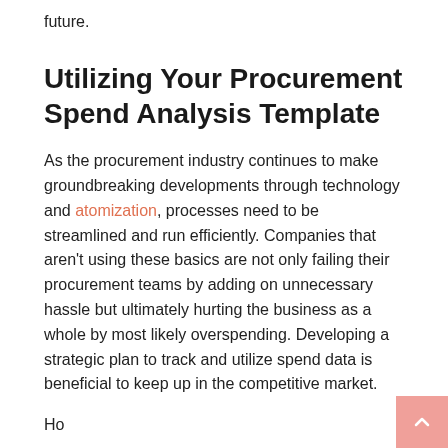future.
Utilizing Your Procurement Spend Analysis Template
As the procurement industry continues to make groundbreaking developments through technology and atomization, processes need to be streamlined and run efficiently. Companies that aren't using these basics are not only failing their procurement teams by adding on unnecessary hassle but ultimately hurting the business as a whole by most likely overspending. Developing a strategic plan to track and utilize spend data is beneficial to keep up in the competitive market.
Ho...